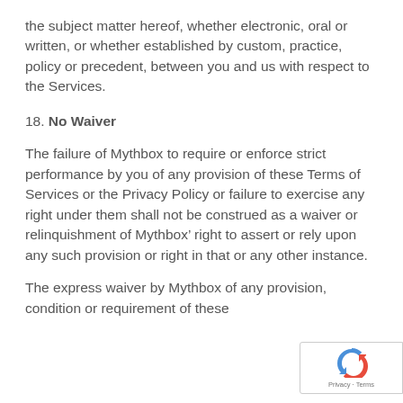the subject matter hereof, whether electronic, oral or written, or whether established by custom, practice, policy or precedent, between you and us with respect to the Services.
18. No Waiver
The failure of Mythbox to require or enforce strict performance by you of any provision of these Terms of Services or the Privacy Policy or failure to exercise any right under them shall not be construed as a waiver or relinquishment of Mythbox’ right to assert or rely upon any such provision or right in that or any other instance.
The express waiver by Mythbox of any provision, condition or requirement of these